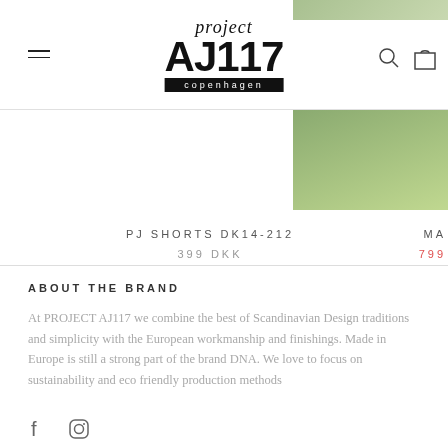[Figure (logo): Project AJ117 Copenhagen logo with hamburger menu, search and bag icons]
[Figure (photo): Partial product photo visible at top right corner, outdoor green/nature background]
PJ SHORTS DK14-212
399 DKK
MA…
799…
ABOUT THE BRAND
At PROJECT AJ117 we combine the best of Scandinavian Design traditions and simplicity with the European workmanship and finishings. Made in Europe is still a strong part of the brand DNA. We love to focus on sustainability and eco friendly production methods
[Figure (illustration): Facebook and Instagram social media icons]